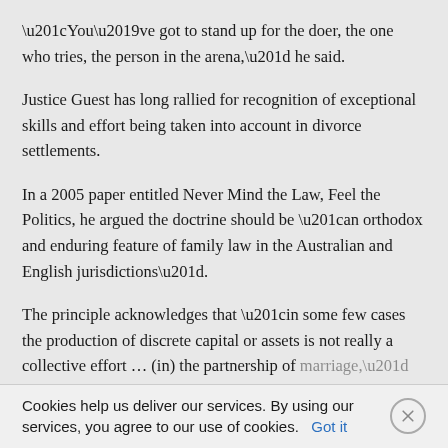“You’ve got to stand up for the doer, the one who tries, the person in the arena,” he said.
Justice Guest has long rallied for recognition of exceptional skills and effort being taken into account in divorce settlements.
In a 2005 paper entitled Never Mind the Law, Feel the Politics, he argued the doctrine should be “an orthodox and enduring feature of family law in the Australian and English jurisdictions”.
The principle acknowledges that “in some few cases the production of discrete capital or assets is not really a collective effort … (in) the partnership of marriage,” Justice Guest wrote. (Source)
Cookies help us deliver our services. By using our services, you agree to our use of cookies.  Got it